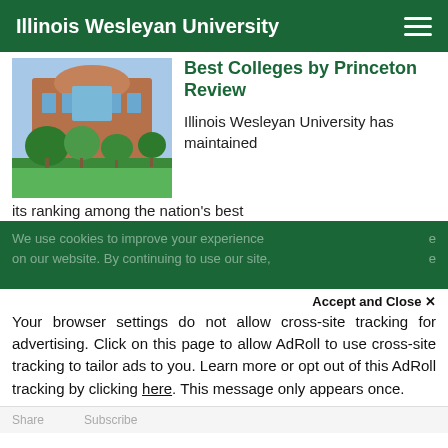Illinois Wesleyan University
[Figure (photo): Photo of Illinois Wesleyan University campus building with trees and green lawn]
Best Colleges by Princeton Review
Illinois Wesleyan University has maintained its ranking among the nation's best
We use cookies to improve your experience on our website. By continuing to use our site...
Accept and Close ✕
Your browser settings do not allow cross-site tracking for advertising. Click on this page to allow AdRoll to use cross-site tracking to tailor ads to you. Learn more or opt out of this AdRoll tracking by clicking here. This message only appears once.